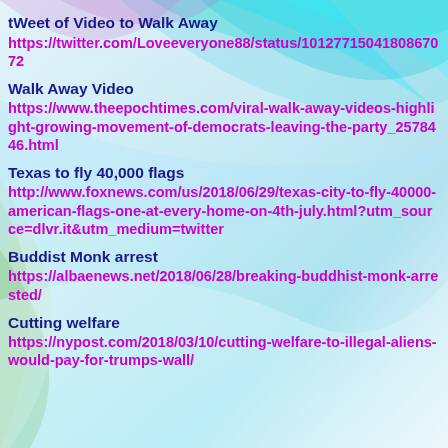tWeet of Video to Walk Away
https://twitter.com/Loveeveryone88/status/1012771504180867072
Walk Away Video
https://www.theepochtimes.com/viral-walk-away-videos-highlight-growing-movement-of-democrats-leaving-the-party_2578446.html
Texas to fly 40,000 flags
http://www.foxnews.com/us/2018/06/29/texas-city-to-fly-40000-american-flags-one-at-every-home-on-4th-july.html?utm_source=dlvr.it&utm_medium=twitter
Buddist Monk arrest
https://albaenews.net/2018/06/28/breaking-buddhist-monk-arrested/
Cutting welfare
https://nypost.com/2018/03/10/cutting-welfare-to-illegal-aliens-would-pay-for-trumps-wall/